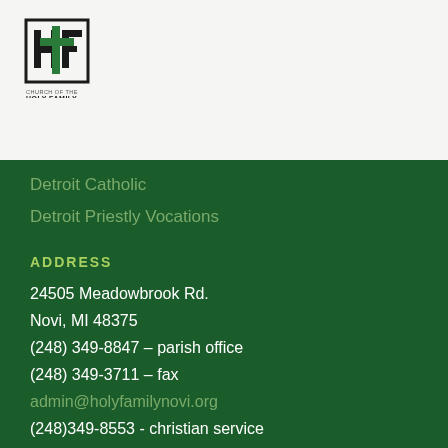[Figure (logo): Church of the Holy Family logo with HF cross emblem, text reading CHURCH OF THE HOLY FAMILY]
Detroit Catholic
Detroit Priestly Vocations
ADDRESS
24505 Meadowbrook Rd.
Novi, MI 48375
(248) 349-8847 – parish office
(248) 349-3711 – fax
admin@holyfamilynovi.org
(248)349-8553 - christian service
OFFICE HOURS
Monday – Friday 9 AM to 3 PM